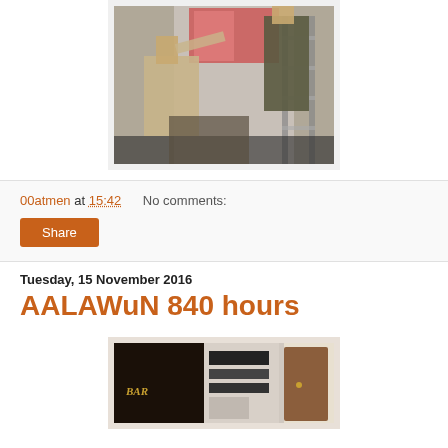[Figure (photo): Two people hanging a large poster/artwork on a white wall, one on a ladder, photographed from below]
00atmen at 15:42    No comments:
Share
Tuesday, 15 November 2016
AALAWuN 840 hours
[Figure (photo): Interior shot showing a bar sign and a doorway with an open wooden door and signage on the wall]